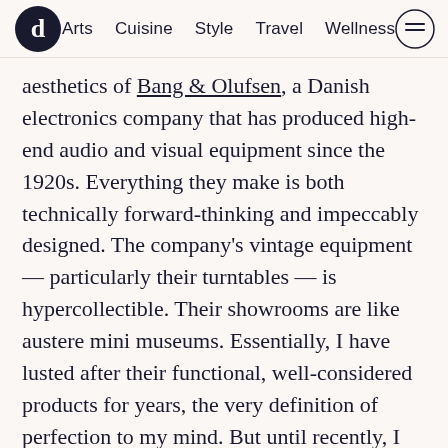Arts  Cuisine  Style  Travel  Wellness
aesthetics of Bang & Olufsen, a Danish electronics company that has produced high-end audio and visual equipment since the 1920s. Everything they make is both technically forward-thinking and impeccably designed. The company's vintage equipment — particularly their turntables — is hypercollectible. Their showrooms are like austere mini museums. Essentially, I have lusted after their functional, well-considered products for years, the very definition of perfection to my mind. But until recently, I didn't feel like I lived in an apartment nice enough to actually host these slick, beautifully crafted objects.